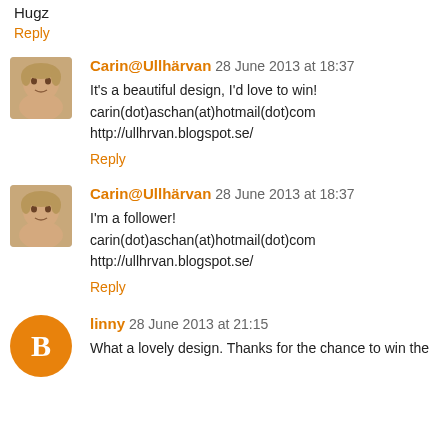Hugz
Reply
Carin@Ullhärvan 28 June 2013 at 18:37
It's a beautiful design, I'd love to win!
carin(dot)aschan(at)hotmail(dot)com
http://ullhrvan.blogspot.se/
Reply
Carin@Ullhärvan 28 June 2013 at 18:37
I'm a follower!
carin(dot)aschan(at)hotmail(dot)com
http://ullhrvan.blogspot.se/
Reply
linny 28 June 2013 at 21:15
What a lovely design. Thanks for the chance to win the